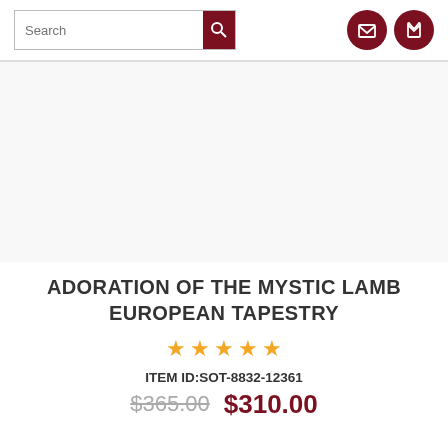[Figure (screenshot): Website header with search bar, dark red search button, phone icon circle, and email icon circle]
[Figure (photo): Product image placeholder area (blank/white) for Adoration of the Mystic Lamb European Tapestry]
ADORATION OF THE MYSTIC LAMB EUROPEAN TAPESTRY
[Figure (other): Five gold/orange star rating icons]
ITEM ID:SOT-8832-12361
$365.00 $310.00